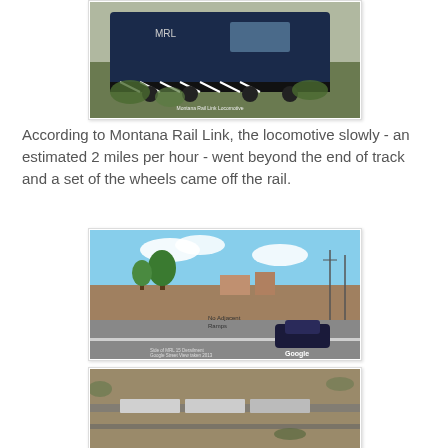[Figure (photo): Montana Rail Link locomotive derailed at end of track, surrounded by overgrown grass]
According to Montana Rail Link, the locomotive slowly - an estimated 2 miles per hour - went beyond the end of track and a set of the wheels came off the rail.
[Figure (photo): Google Street View of the derailment location showing a road intersection with a car visible]
[Figure (photo): Aerial view of the derailment site]